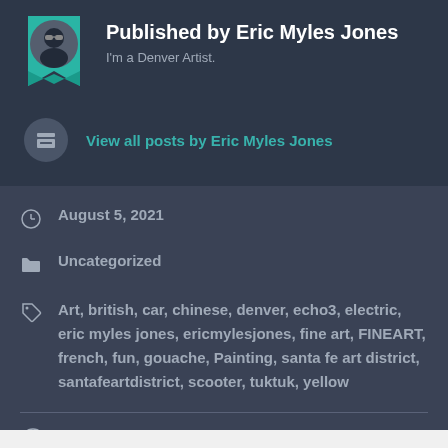Published by Eric Myles Jones
I'm a Denver Artist.
View all posts by Eric Myles Jones
August 5, 2021
Uncategorized
Art, british, car, chinese, denver, echo3, electric, eric myles jones, ericmylesjones, fine art, FINEART, french, fun, gouache, Painting, santa fe art district, santafeartdistrict, scooter, tuktuk, yellow
Fences
Recent Stuff 2019-2021